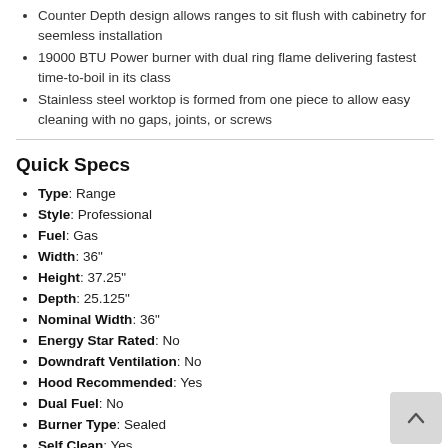Counter Depth design allows ranges to sit flush with cabinetry for seemless installation
19000 BTU Power burner with dual ring flame delivering fastest time-to-boil in its class
Stainless steel worktop is formed from one piece to allow easy cleaning with no gaps, joints, or screws
Quick Specs
Type: Range
Style: Professional
Fuel: Gas
Width: 36"
Height: 37.25"
Depth: 25.125"
Nominal Width: 36"
Energy Star Rated: No
Downdraft Ventilation: No
Hood Recommended: Yes
Dual Fuel: No
Burner Type: Sealed
Self Clean: Yes
Convection: Yes
First Oven: 5.7 cu. ft.
Hidden Bake Element: No